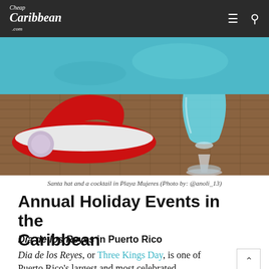Cheap Caribbean .com
[Figure (photo): Santa hat lying on a wicker surface next to a blue cocktail in a hurricane glass, with a turquoise pool in the background. Taken in Playa Mujeres.]
Santa hat and a cocktail in Playa Mujeres (Photo by: @anoli_13)
Annual Holiday Events in the Caribbean
Dia de los Reyes in Puerto Rico
Dia de los Reyes, or Three Kings Day, is one of Puerto Rico's largest and most celebrated